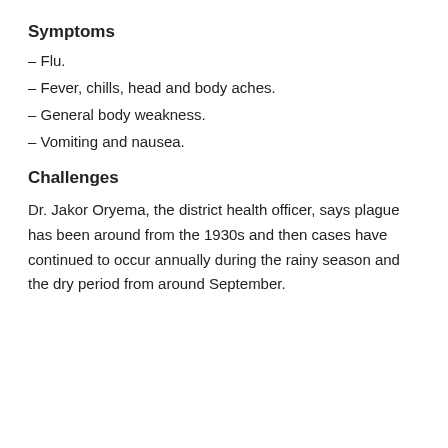Symptoms
– Flu.
– Fever, chills, head and body aches.
– General body weakness.
– Vomiting and nausea.
Challenges
Dr. Jakor Oryema, the district health officer, says plague has been around from the 1930s and then cases have continued to occur annually during the rainy season and the dry period from around September.